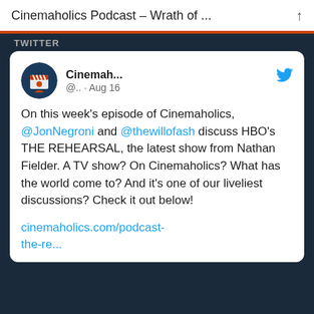Cinemaholics Podcast – Wrath of ...
TWITTER
[Figure (screenshot): Tweet from Cinemaholics account with avatar showing a film clapperboard icon on dark blue background, Twitter bird icon in blue]
Cinemah... @.. · Aug 16
On this week's episode of Cinemaholics, @JonNegroni and @thewillofash discuss HBO's THE REHEARSAL, the latest show from Nathan Fielder. A TV show? On Cinemaholics? What has the world come to? And it's one of our liveliest discussions? Check it out below!
cinemaholics.com/podcast-the-re...